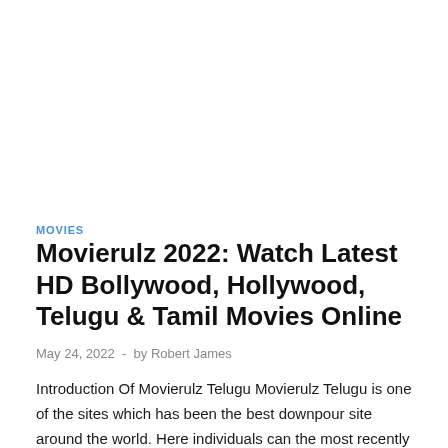MOVIES
Movierulz 2022: Watch Latest HD Bollywood, Hollywood, Telugu & Tamil Movies Online
May 24, 2022  -  by Robert James
Introduction Of Movierulz Telugu Movierulz Telugu is one of the sites which has been the best downpour site around the world. Here individuals can the most recently delivered …